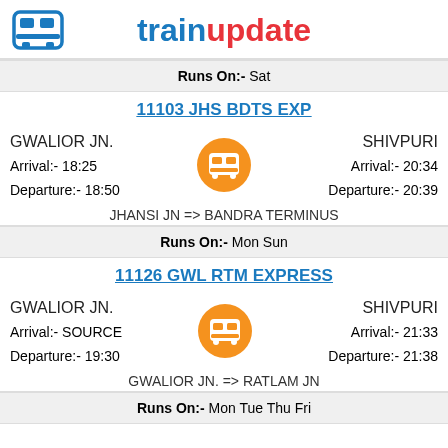trainupdate
Runs On:- Sat
11103 JHS BDTS EXP
GWALIOR JN.
Arrival:- 18:25
Departure:- 18:50
SHIVPURI
Arrival:- 20:34
Departure:- 20:39
JHANSI JN => BANDRA TERMINUS
Runs On:- Mon Sun
11126 GWL RTM EXPRESS
GWALIOR JN.
Arrival:- SOURCE
Departure:- 19:30
SHIVPURI
Arrival:- 21:33
Departure:- 21:38
GWALIOR JN. => RATLAM JN
Runs On:- Mon Tue Thu Fri